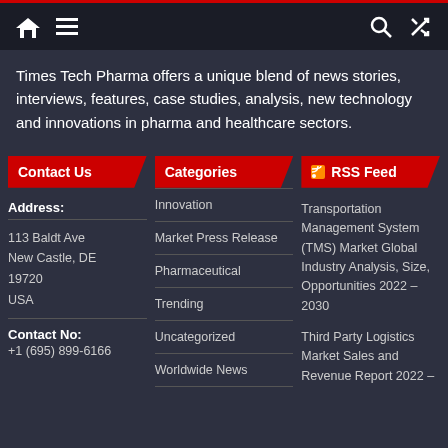Navigation bar with home, menu, search, and shuffle icons
Times Tech Pharma offers a unique blend of news stories, interviews, features, case studies, analysis, new technology and innovations in pharma and healthcare sectors.
Contact Us
Categories
RSS Feed
Address:
113 Baldt Ave
New Castle, DE
19720
USA
Contact No:
+1 (695) 899-6166
Innovation
Market Press Release
Pharmaceutical
Trending
Uncategorized
Worldwide News
Transportation Management System (TMS) Market Global Industry Analysis, Size, Opportunities 2022 – 2030
Third Party Logistics Market Sales and Revenue Report 2022 –